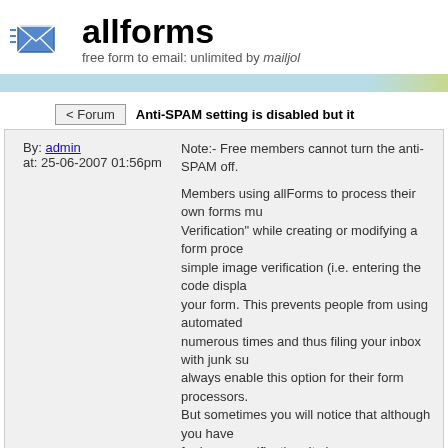allforms — free form to email: unlimited by mailjol
< Forum
Anti-SPAM setting is disabled but it keeps coming back. WH
By: admin
at: 25-06-2007 01:56pm
Note:- Free members cannot turn the anti-SPAM off.

Members using allForms to process their own forms must enable "Image Verification" while creating or modifying a form processor. This adds a simple image verification (i.e. entering the code displayed in an image) to your form. This prevents people from using automated scripts to submit your form numerous times and thus filing your inbox with junk submissions. We strongly always enable this option for their form processors.
But sometimes you will notice that although you have disabled your requirement for image verification. Its because our automated system monitors the numbers & numbers of e-mails being sent out to an e-mail address and enables our anti-spam system for 24 hours on a form which is receiving too many submissions. The definition of "too many" is also not fixed. It is decided by our system and resets after 24 hours.

--Regards,
Support
By: KMS
at: 12-08-2007 08:48am
Everytime i try and register it keep saying, Allforms ha... an its still saying same.